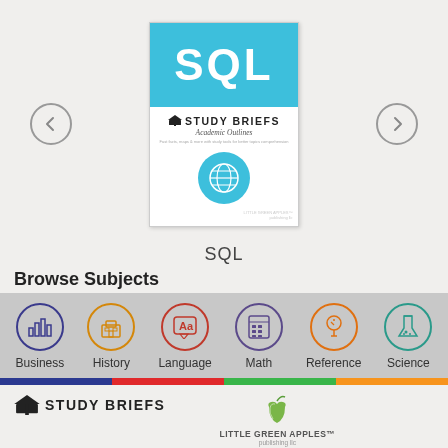[Figure (illustration): Book cover for SQL Study Briefs Academic Outlines with teal/cyan banner and globe icon, displayed with left and right navigation arrows]
SQL
Browse Subjects
[Figure (infographic): Subject category icons row: Business (bar chart icon, blue), History (building icon, orange), Language (Aa text icon, red), Math (calculator icon, purple), Reference (lightbulb icon, orange), Science (flask icon, teal)]
[Figure (illustration): Color stripe bar: dark blue, red, green, orange]
[Figure (logo): Study Briefs logo with graduation cap icon on bottom left, Little Green Apples logo with apple icon on bottom right]